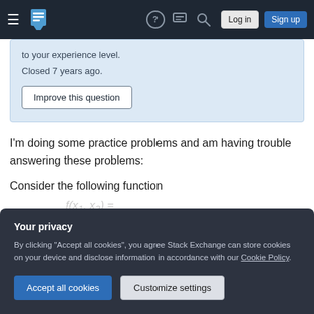Stack Exchange navigation bar with hamburger menu, logo, help, chat, search, Log in, Sign up buttons
to your experience level. Closed 7 years ago.
Improve this question
I'm doing some practice problems and am having trouble answering these problems:
Consider the following function
Your privacy
By clicking "Accept all cookies", you agree Stack Exchange can store cookies on your device and disclose information in accordance with our Cookie Policy.
Accept all cookies
Customize settings